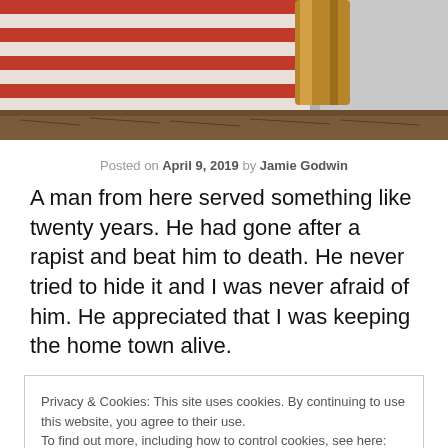[Figure (photo): Partial photo of a wooden-framed object with red and white stripes (appears to be a flag or textile), wood handle visible, against a grey background.]
Posted on April 9, 2019 by Jamie Godwin
A man from here served something like twenty years. He had gone after a rapist and beat him to death. He never tried to hide it and I was never afraid of him. He appreciated that I was keeping the home town alive.
Privacy & Cookies: This site uses cookies. By continuing to use this website, you agree to their use.
To find out more, including how to control cookies, see here: Cookie Policy
[Close and accept]